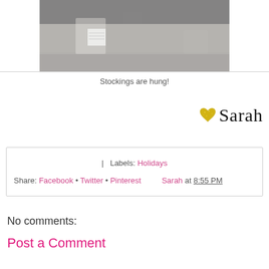[Figure (photo): Photo of a decorated table/mantel area with stockings, presumably a Christmas holiday scene. Gray and white tones.]
Stockings are hung!
[Figure (illustration): Gold glitter heart emoji followed by handwritten signature 'Sarah' in black cursive script.]
| Labels: Holidays
Share: Facebook • Twitter • Pinterest    Sarah at 8:55 PM
No comments:
Post a Comment